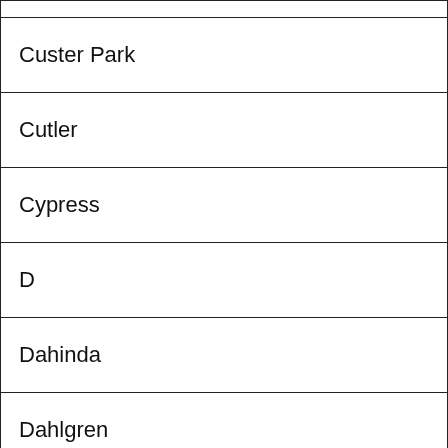|  |
| Custer Park |
| Cutler |
| Cypress |
| D |
| Dahinda |
| Dahlgren |
| Dakota |
| Dale |